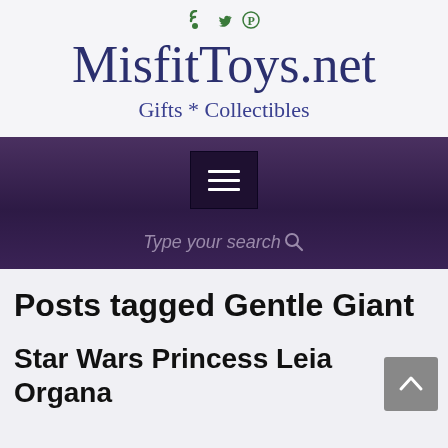[Figure (screenshot): Social media icons: RSS feed (green), Twitter bird (green), Pinterest (green)]
MisfitToys.net
Gifts * Collectibles
[Figure (screenshot): Navigation bar with hamburger menu button and search field showing 'Type your search']
Posts tagged Gentle Giant
Star Wars Princess Leia Organa